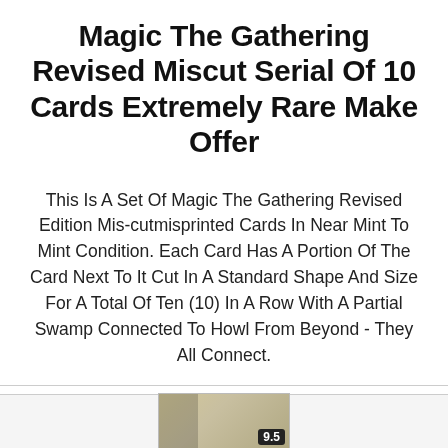Magic The Gathering Revised Miscut Serial Of 10 Cards Extremely Rare Make Offer
This Is A Set Of Magic The Gathering Revised Edition Mis-cutmisprinted Cards In Near Mint To Mint Condition. Each Card Has A Portion Of The Card Next To It Cut In A Standard Shape And Size For A Total Of Ten (10) In A Row With A Partial Swamp Connected To Howl From Beyond - They All Connect.
$50000.00
[Figure (photo): Partial view of a graded Magic: The Gathering card with a grade of 9.5 visible in the bottom right corner of the slab.]